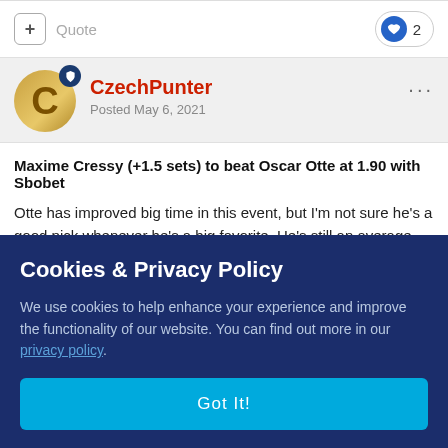+ Quote  ♥ 2
CzechPunter
Posted May 6, 2021
Maxime Cressy (+1.5 sets) to beat Oscar Otte at 1.90 with Sbobet
Otte has improved big time in this event, but I'm not sure he's a good pick whenever he's a big favorite. He's still an average player that can bomb out
Cookies & Privacy Policy
We use cookies to help enhance your experience and improve the functionality of our website. You can find out more in our privacy policy.
Got It!